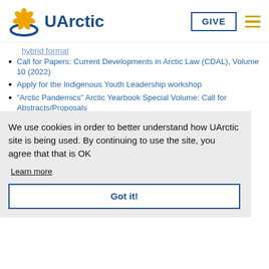[Figure (logo): UArctic logo with flower icon and text]
hybrid format (truncated)
Call for Papers: Current Developments in Arctic Law (CDAL), Volume 10 (2022)
Apply for the Indigenous Youth Leadership workshop
"Arctic Pandemics" Arctic Yearbook Special Volume: Call for Abstracts/Proposals
Webpages for the new Thematic Networks launched
DALAN Thematic Network holds first Workshops
New publications on Arctic and Arctic law
See All News
Related files
Information & practicalities for new Thematic Networks
Thematic Networks Activity Table 2021
We use cookies in order to better understand how UArctic site is being used. By continuing to use the site, you agree that that is OK
Learn more
Got it!